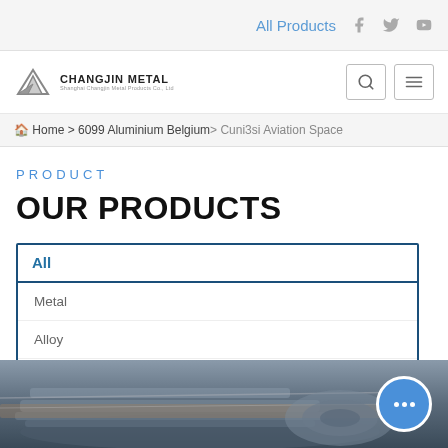All Products
[Figure (logo): Changjin Metal logo with stylized metallic icon and company name]
Home > 6099 Aluminium Belgium > Cuni3si Aviation Space
PRODUCT
OUR PRODUCTS
All
Metal
Alloy
Processing
[Figure (photo): Industrial warehouse or factory floor showing stacked metal sheets or aluminium coils in low light]